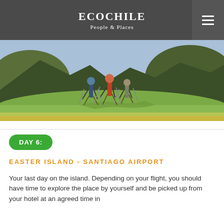ECOCHILE People & Places
[Figure (photo): Hikers with trekking poles walking through green grassy landscape with rocky terrain and hills in the background, Easter Island.]
DAY 6:
EASTER ISLAND - SANTIAGO AIRPORT
Your last day on the island. Depending on your flight, you should have time to explore the place by yourself and be picked up from your hotel at an agreed time in